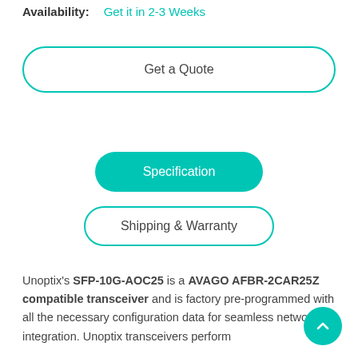Availability: Get it in 2-3 Weeks
Get a Quote
Specification
Shipping & Warranty
Unoptix's SFP-10G-AOC25 is a AVAGO AFBR-2CAR25Z compatible transceiver and is factory pre-programmed with all the necessary configuration data for seamless network integration. Unoptix transceivers perform